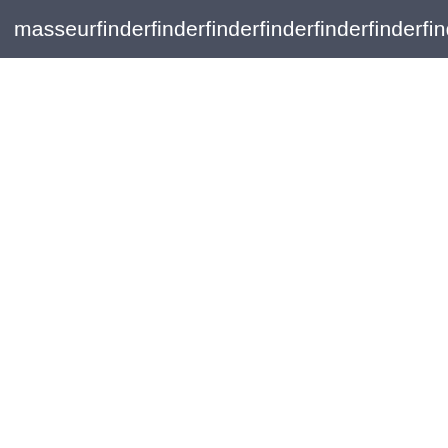masseurfinderMATTHEWS
[Figure (screenshot): Navigation bar with List, Map, Featured dropdown, and Filters button]
[Figure (photo): Photo of a man in a teal/turquoise t-shirt sitting in a chair, smiling, in an indoor studio setting]
Based in Charlotte   At his studio only
... Your initial message to me will say a lot about the type of client you are, so please be respectful. (Manners will always go a long way with me). ...
In using this site, I agree to be bound to the Terms of Service and Privacy Policy.
Leave   I agree